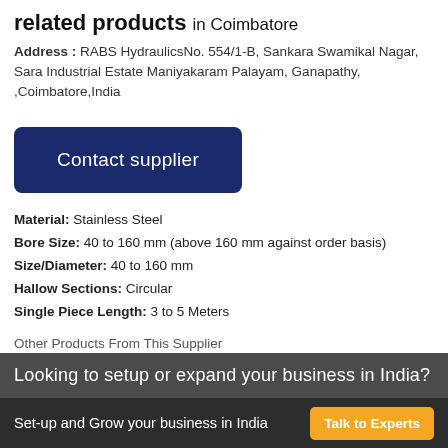related products in Coimbatore
Address : RABS HydraulicsNo. 554/1-B, Sankara Swamikal Nagar, Sara Industrial Estate Maniyakaram Palayam, Ganapathy, ,Coimbatore,India
Contact supplier
Material: Stainless Steel
Bore Size: 40 to 160 mm (above 160 mm against order basis)
Size/Diameter: 40 to 160 mm
Hallow Sections: Circular
Single Piece Length: 3 to 5 Meters
Other Products From This Supplier
Looking to setup or expand your business in India?
Set-up and Grow your business in India   Talk to Experts